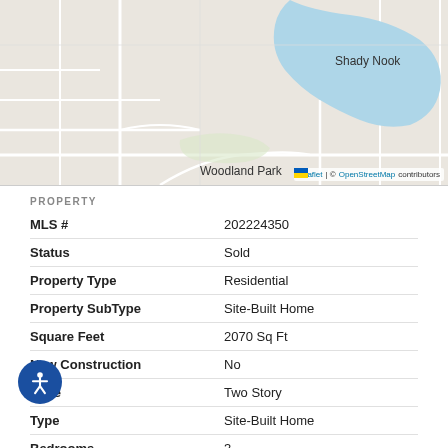[Figure (map): Street map showing Woodland Park and Shady Nook neighborhoods with a blue lake/water body, roads, and OpenStreetMap attribution.]
PROPERTY
| Field | Value |
| --- | --- |
| MLS # | 202224350 |
| Status | Sold |
| Property Type | Residential |
| Property SubType | Site-Built Home |
| Square Feet | 2070 Sq Ft |
| New Construction | No |
| Style | Two Story |
| Type | Site-Built Home |
| Bedrooms | 3 |
| Bathrooms | 3 (2 Full, 1 Half) |
| Annual Taxes | $3,809.56 |
| Year Taxes Payable | 2022 |